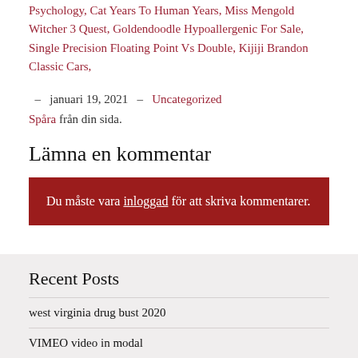Psychology, Cat Years To Human Years, Miss Mengold Witcher 3 Quest, Goldendoodle Hypoallergenic For Sale, Single Precision Floating Point Vs Double, Kijiji Brandon Classic Cars,
– januari 19, 2021 – Uncategorized Spåra från din sida.
Lämna en kommentar
Du måste vara inloggad för att skriva kommentarer.
Recent Posts
west virginia drug bust 2020
VIMEO video in modal
VIMEO video in panel